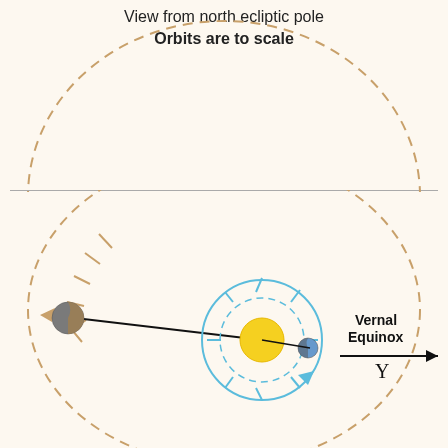View from north ecliptic pole
Orbits are to scale
[Figure (illustration): Astronomical diagram showing orbital mechanics from north ecliptic pole view. Top half shows a large dashed tan/brown elliptical orbit arc. Bottom half shows: a large dashed tan/brown elliptical outer orbit with tick marks and arrows indicating direction, a planet (gray/brown) on the left side of the outer orbit connected by a black line to the center, a central yellow sun with inner blue dashed circular orbit around it, a small blue Earth on the inner orbit, and a 'Vernal Equinox' label with Aries symbol (γ) and rightward arrow on the right side.]